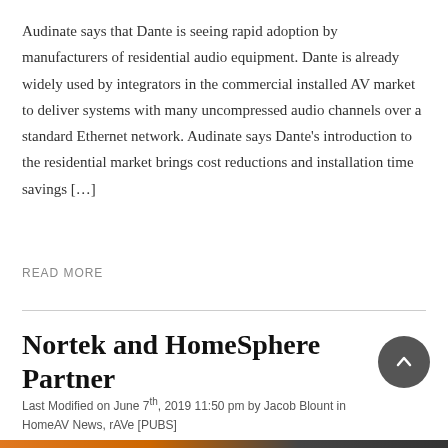Audinate says that Dante is seeing rapid adoption by manufacturers of residential audio equipment. Dante is already widely used by integrators in the commercial installed AV market to deliver systems with many uncompressed audio channels over a standard Ethernet network. Audinate says Dante's introduction to the residential market brings cost reductions and installation time savings […]
READ MORE
Nortek and HomeSphere Partner
Last Modified on June 7th, 2019 11:50 pm by Jacob Blount in HomeAV News, rAVe [PUBS]